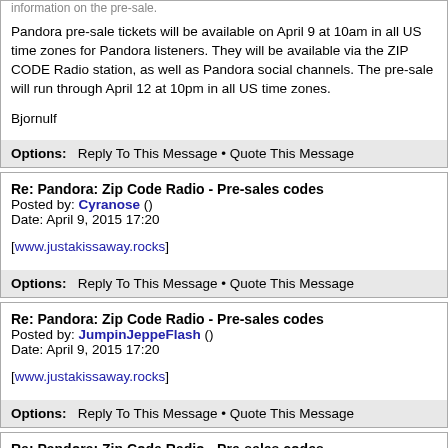information on the pre-sale.

Pandora pre-sale tickets will be available on April 9 at 10am in all US time zones for Pandora listeners. They will be available via the ZIP CODE Radio station, as well as Pandora social channels. The pre-sale will run through April 12 at 10pm in all US time zones.

Bjornulf
Options:   Reply To This Message • Quote This Message
Re: Pandora: Zip Code Radio - Pre-sales codes
Posted by: Cyranose ()
Date: April 9, 2015 17:20

[www.justakissaway.rocks]
Options:   Reply To This Message • Quote This Message
Re: Pandora: Zip Code Radio - Pre-sales codes
Posted by: JumpinJeppeFlash ()
Date: April 9, 2015 17:20

[www.justakissaway.rocks]
Options:   Reply To This Message • Quote This Message
Re: Pandora: Zip Code Radio - Pre-sales codes
Posted by: Mr1970 ()
Date: April 9, 2015 17:25